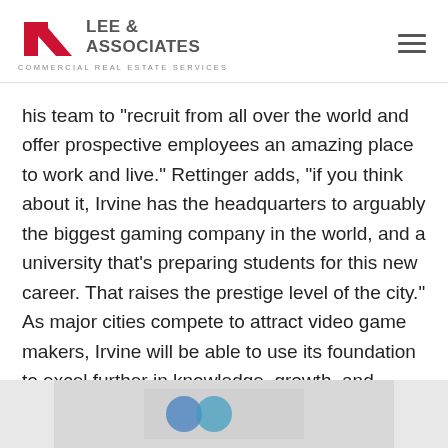[Figure (logo): Lee & Associates Commercial Real Estate Services logo with red LA chevron mark and hamburger menu icon]
his team to “recruit from all over the world and offer prospective employees an amazing place to work and live.” Rettinger adds, “if you think about it, Irvine has the headquarters to arguably the biggest gaming company in the world, and a university that’s preparing students for this new career. That raises the prestige level of the city.” As major cities compete to attract video game makers, Irvine will be able to use its foundation to excel further in knowledge, growth, and economic development.
[Figure (photo): Partially visible image at the bottom of the page showing what appears to be a logo or graphic on a grey background]